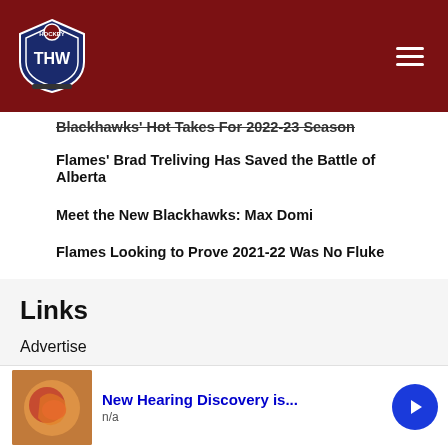THW Hockey Writers
Blackhawks' Hot Takes For 2022-23 Season
Flames' Brad Treliving Has Saved the Battle of Alberta
Meet the New Blackhawks: Max Domi
Flames Looking to Prove 2021-22 Was No Fluke
Canucks Prospect Report: Jurmo, Lekkerimaki, Myrenberg & More
Senators' Greig & Ostapchuk's WJC Success Showcases Potential
Links
Advertise
[Figure (infographic): Advertisement banner: anatomy image with 'New Hearing Discovery is...' headline, n/a subtext, and a blue arrow button]